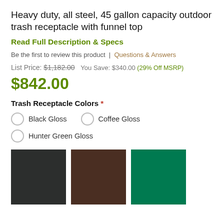Heavy duty, all steel, 45 gallon capacity outdoor trash receptacle with funnel top
Read Full Description & Specs
Be the first to review this product | Questions & Answers
List Price: $1,182.00   You Save: $340.00 (29% Off MSRP)
$842.00
Trash Receptacle Colors *
Black Gloss
Coffee Gloss
Hunter Green Gloss
[Figure (illustration): Three color swatches: dark charcoal/black, dark brown/coffee, and hunter green]